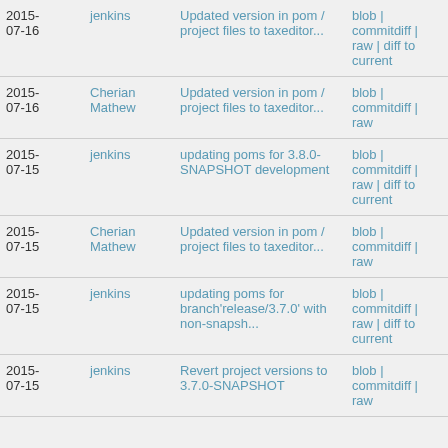| Date | Author | Message | Actions |
| --- | --- | --- | --- |
| 2015-07-16 | jenkins | Updated version in pom / project files to taxeditor... | blob | commitdiff | raw | diff to current |
| 2015-07-16 | Cherian Mathew | Updated version in pom / project files to taxeditor... | blob | commitdiff | raw |
| 2015-07-15 | jenkins | updating poms for 3.8.0-SNAPSHOT development | blob | commitdiff | raw | diff to current |
| 2015-07-15 | Cherian Mathew | Updated version in pom / project files to taxeditor... | blob | commitdiff | raw |
| 2015-07-15 | jenkins | updating poms for branch'release/3.7.0' with non-snapsh... | blob | commitdiff | raw | diff to current |
| 2015-07-15 | jenkins | Revert project versions to 3.7.0-SNAPSHOT | blob | commitdiff | raw |